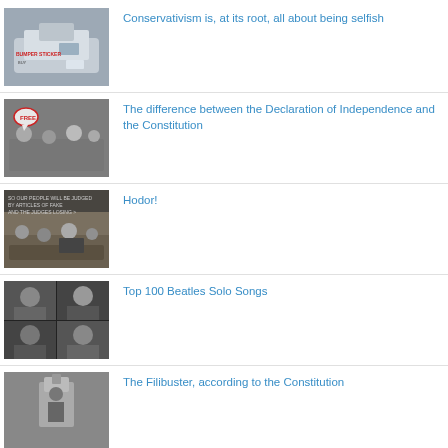Conservativism is, at its root, all about being selfish
The difference between the Declaration of Independence and the Constitution
Hodor!
Top 100 Beatles Solo Songs
The Filibuster, according to the Constitution